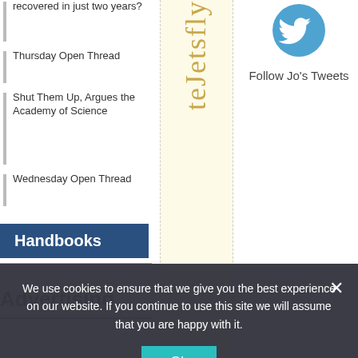recovered in just two years?
Thursday Open Thread
Shut Them Up, Argues the Academy of Science
Wednesday Open Thread
Handbooks
Advertising
[Figure (other): Vertical rotated text advertisement reading 'teJetsfly' in gold/yellow serif font on a light yellow background column]
[Figure (logo): Twitter bird logo icon in blue]
Follow Jo's Tweets
We use cookies to ensure that we give you the best experience on our website. If you continue to use this site we will assume that you are happy with it.